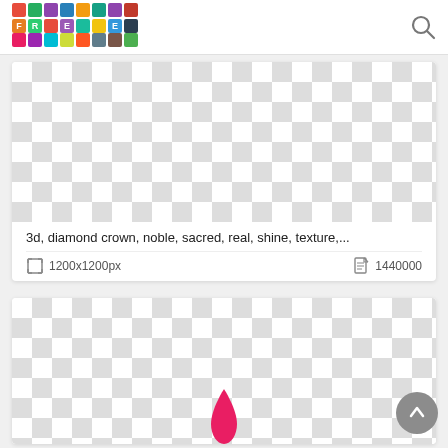[Figure (logo): FREE colorful tiled logo with multicolored squares]
[Figure (illustration): Checkerboard transparency pattern showing image with text: 3d, diamond crown, noble, sacred, real, shine, texture,...]
3d, diamond crown, noble, sacred, real, shine, texture,...
1200x1200px
1440000
[Figure (illustration): Checkerboard transparency pattern with pink flame/drop shape at bottom center]